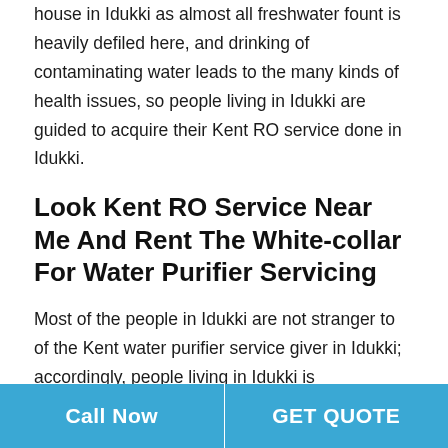house in Idukki as almost all freshwater fount is heavily defiled here, and drinking of contaminating water leads to the many kinds of health issues, so people living in Idukki are guided to acquire their Kent RO service done in Idukki.
Look Kent RO Service Near Me And Rent The White-collar For Water Purifier Servicing
Most of the people in Idukki are not stranger to of the Kent water purifier service giver in Idukki; accordingly, people living in Idukki is recommended to view for the Kent RO service center near me in Idukki but only viewing for the same is not the permanent solution so before you finalize the Kent water purifier service center in Idukki be make certain that your service giver is the greatest among all
Call Now | GET QUOTE